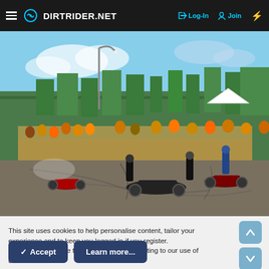DIRTRIDER.NET   → Log-In   ♂ Join   ⚡
[Figure (photo): Outdoor motorcycle stunt show on a large paved area. Multiple riders and motorcycles visible, one bike appears tipped or fallen over. A large crowd of spectators watches from behind barriers in the background. Trees, street lamps, and a white tent visible. Tire marks on the pavement. Overcast/partly cloudy sky.]
This site uses cookies to help personalise content, tailor your experience and to keep you logged in if you register.
By continuing to use this site, you are consenting to our use of cookies.
✓ Accept
Learn more...